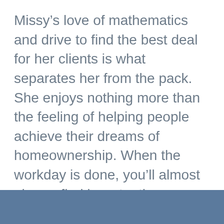Missy's love of mathematics and drive to find the best deal for her clients is what separates her from the pack. She enjoys nothing more than the feeling of helping people achieve their dreams of homeownership. When the workday is done, you'll almost always find her at a theme park  or in nature taking pictures of wildlife. If you ever feel the urge to thank Missy for her hard work, bring her an ice-cold Diet Coke!